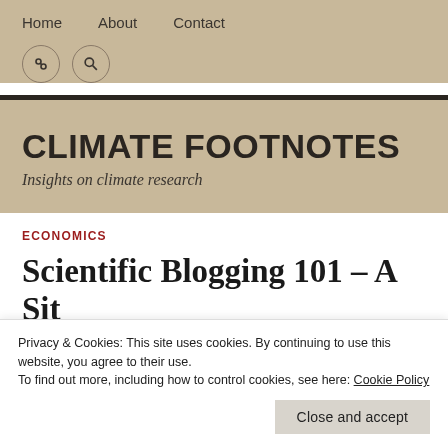Home  About  Contact
CLIMATE FOOTNOTES
Insights on climate research
ECONOMICS
Scientific Blogging 101 – A Sit Down with the Experts, Part II
Privacy & Cookies: This site uses cookies. By continuing to use this website, you agree to their use.
To find out more, including how to control cookies, see here: Cookie Policy
Close and accept